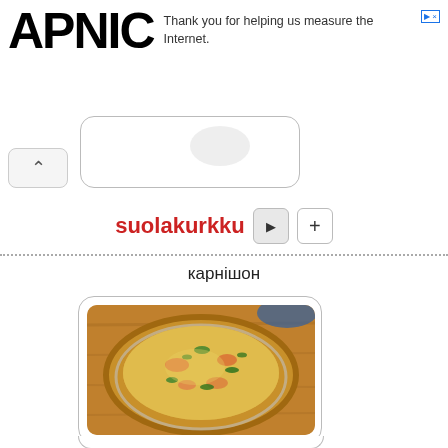APNIC — Thank you for helping us measure the Internet.
[Figure (screenshot): Partial view of a card with rounded rectangle border, partially visible at top]
suolakurkku
карнішон
[Figure (photo): Photo of a round quiche or savory pie in a metal pan on a wooden cutting board, with golden crust and green herb topping]